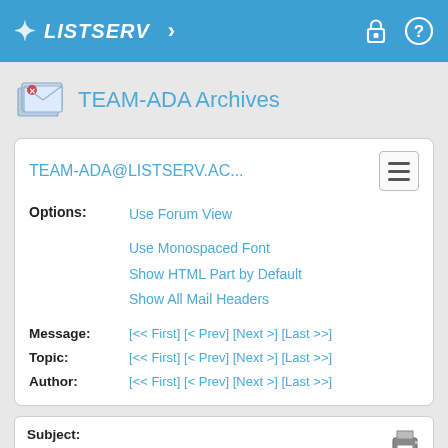LISTSERV
TEAM-ADA Archives
TEAM-ADA@LISTSERV.AC...
Options: Use Forum View
Use Monospaced Font
Show HTML Part by Default
Show All Mail Headers
Message: [<< First] [< Prev] [Next >] [Last >>]
Topic: [<< First] [< Prev] [Next >] [Last >>]
Author: [<< First] [< Prev] [Next >] [Last >>]
Subject: Re: Another article trashing Ada
From: Michael Feldman <[log in to unmask]>